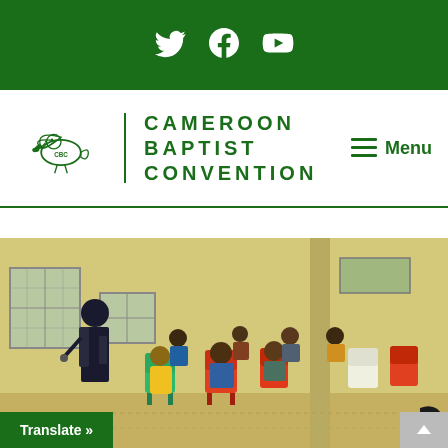Social icons: Twitter, Facebook, YouTube
[Figure (logo): Cameroon Baptist Convention logo with dove holding olive branch]
CAMEROON BAPTIST CONVENTION
☰ Menu
[Figure (photo): Indoor meeting scene: a presenter speaking to a seated audience in a room with green, orange and white plastic chairs. Yellow-painted walls, windows on the left side.]
Translate »